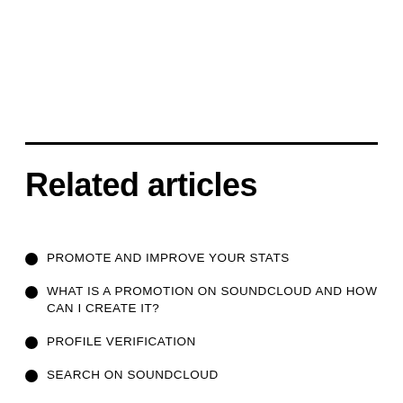Related articles
PROMOTE AND IMPROVE YOUR STATS
WHAT IS A PROMOTION ON SOUNDCLOUD AND HOW CAN I CREATE IT?
PROFILE VERIFICATION
SEARCH ON SOUNDCLOUD